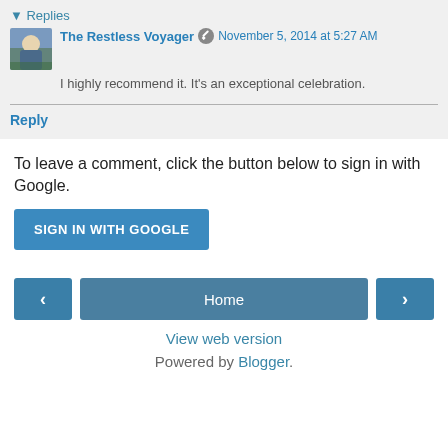Replies
The Restless Voyager  November 5, 2014 at 5:27 AM
I highly recommend it. It's an exceptional celebration.
Reply
To leave a comment, click the button below to sign in with Google.
SIGN IN WITH GOOGLE
Home
View web version
Powered by Blogger.